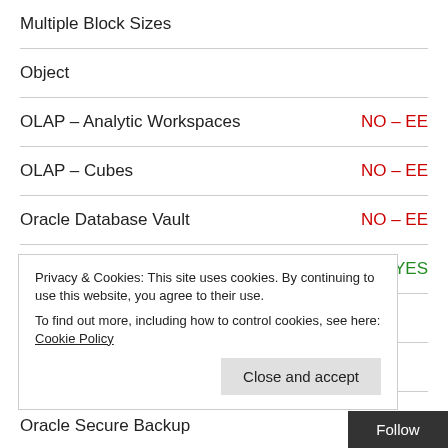Multiple Block Sizes
Object
OLAP – Analytic Workspaces
OLAP – Cubes
Oracle Database Vault
Oracle Java Virtual Machine (system)
Oracle Java Virtual Machine (user)
Oracle Managed Files
Privacy & Cookies: This site uses cookies. By continuing to use this website, you agree to their use. To find out more, including how to control cookies, see here: Cookie Policy
Oracle Secure Backup